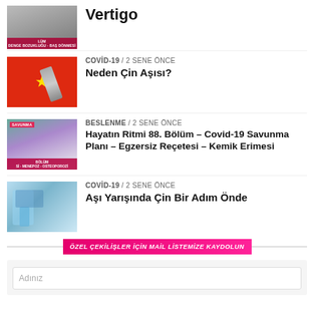[Figure (photo): Partial thumbnail of person, with red label at bottom reading LUM / DENGE BOZUKLUGU - BAŞ DÖNMESİ]
Vertigo
[Figure (photo): Chinese flag with syringe]
COVİD-19 / 2 sene önce
Neden Çin Aşısı?
[Figure (photo): TV show thumbnail with people, SAVUNMA label, red badge at bottom]
BESLENME / 2 sene önce
Hayatın Ritmi 88. Bölüm – Covid-19 Savunma Planı – Egzersiz Reçetesi – Kemik Erimesi
[Figure (photo): Lab/science image with blue gloves and test tubes]
COVİD-19 / 2 sene önce
Aşı Yarışında Çin Bir Adım Önde
ÖZEL ÇEKİLİŞLER İÇİN MAİL LİSTEMİZE KAYDOLUN
Adınız